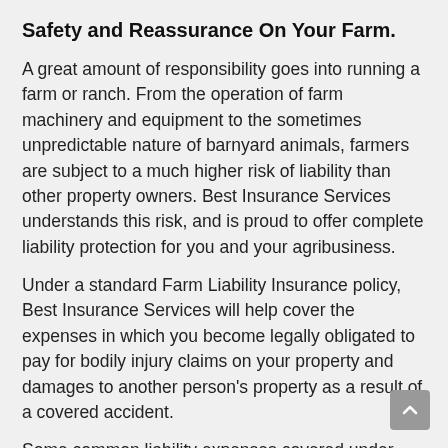Safety and Reassurance On Your Farm.
A great amount of responsibility goes into running a farm or ranch. From the operation of farm machinery and equipment to the sometimes unpredictable nature of barnyard animals, farmers are subject to a much higher risk of liability than other property owners. Best Insurance Services understands this risk, and is proud to offer complete liability protection for you and your agribusiness.
Under a standard Farm Liability Insurance policy, Best Insurance Services will help cover the expenses in which you become legally obligated to pay for bodily injury claims on your property and damages to another person's property as a result of a covered accident.
Some common liability expenses covered under your policy include:
Attorney fees and court costs
Medical expenses for people injured on your prope…
Injury or damage to another's property caused by y…